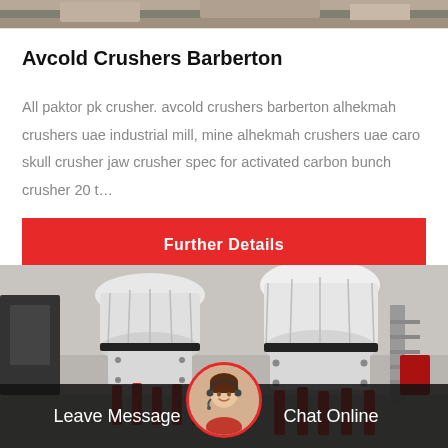[Figure (photo): Top portion of industrial crusher machine, partially cropped]
Avcold Crushers Barberton
All paktor pk crusher. avcold crushers barberton alhekmah crushers uae industrial mill, mine alhekmah crushers uae caro skull crusher jaw crusher spec for activated carbon bunch crusher 20 t…
Further Details
[Figure (photo): Industrial cone crusher machines in a warehouse or factory setting, white and red colored equipment]
Leave Message
Chat Online